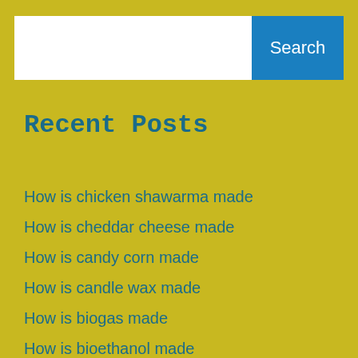[Figure (screenshot): Search bar with white input field and blue Search button on golden-yellow background]
Recent Posts
How is chicken shawarma made
How is cheddar cheese made
How is candy corn made
How is candle wax made
How is biogas made
How is bioethanol made